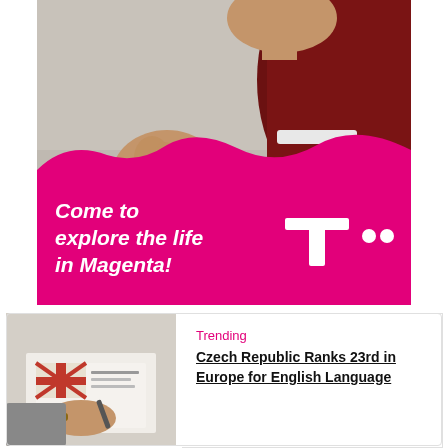[Figure (photo): T-Mobile/Telekom advertisement banner showing a person in a dark red jacket making a hand gesture, with a magenta wave shape at the bottom containing the text 'Come to explore the life in Magenta!' and the Deutsche Telekom T logo]
[Figure (photo): Thumbnail image of hands writing on paper with an English language flag/book visible]
Trending
Czech Republic Ranks 23rd in Europe for English Language